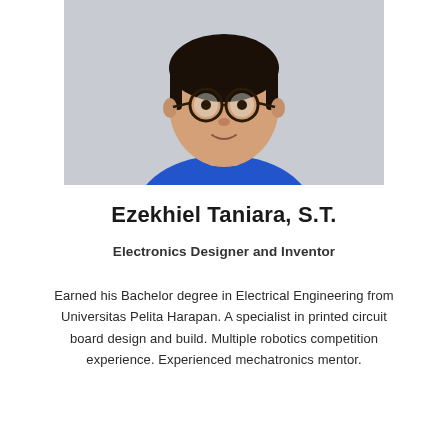[Figure (photo): Headshot photo of a young Asian man wearing round glasses and a blue t-shirt, photographed against a light grey background, cropped at chest level]
Ezekhiel Taniara, S.T.
Electronics Designer and Inventor
Earned his Bachelor degree in Electrical Engineering from Universitas Pelita Harapan. A specialist in printed circuit board design and build. Multiple robotics competition experience. Experienced mechatronics mentor.